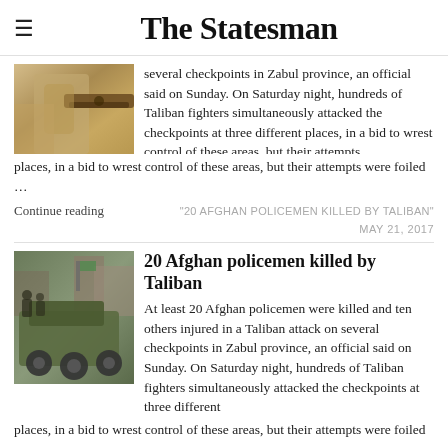The Statesman
[Figure (photo): Photo of a person holding a rifle, cropped — partial body and gun visible]
several checkpoints in Zabul province, an official said on Sunday. On Saturday night, hundreds of Taliban fighters simultaneously attacked the checkpoints at three different places, in a bid to wrest control of these areas, but their attempts were foiled …
Continue reading
"20 AFGHAN POLICEMEN KILLED BY TALIBAN"
MAY 21, 2017
[Figure (photo): Photo of military tactical vehicles/armored trucks on a street with soldiers]
20 Afghan policemen killed by Taliban
At least 20 Afghan policemen were killed and ten others injured in a Taliban attack on several checkpoints in Zabul province, an official said on Sunday. On Saturday night, hundreds of Taliban fighters simultaneously attacked the checkpoints at three different places, in a bid to wrest control of these areas, but their attempts were foiled …